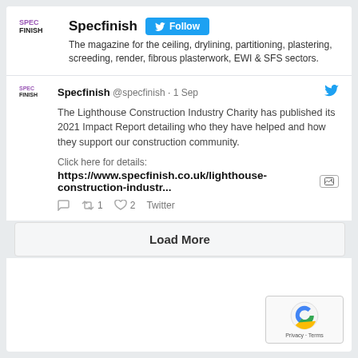[Figure (logo): Specfinish magazine logo with SPEC in purple and FINISH in black]
Specfinish
The magazine for the ceiling, drylining, partitioning, plastering, screeding, render, fibrous plasterwork, EWI & SFS sectors.
Specfinish @specfinish · 1 Sep
The Lighthouse Construction Industry Charity has published its 2021 Impact Report detailing who they have helped and how they support our construction community.
Click here for details:
https://www.specfinish.co.uk/lighthouse-construction-industr...
1   2   Twitter
Load More
Privacy · Terms